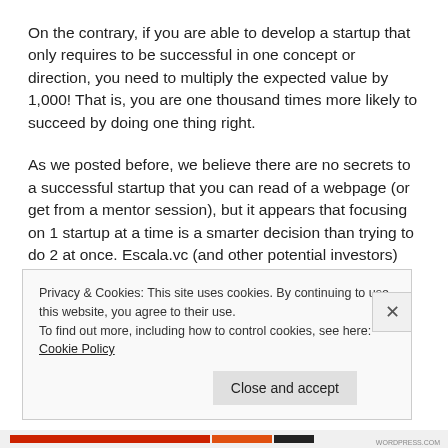On the contrary, if you are able to develop a startup that only requires to be successful in one concept or direction, you need to multiply the expected value by 1,000! That is, you are one thousand times more likely to succeed by doing one thing right.
As we posted before, we believe there are no secrets to a successful startup that you can read of a webpage (or get from a mentor session), but it appears that focusing on 1 startup at a time is a smarter decision than trying to do 2 at once. Escala.vc (and other potential investors) are generally interested in teams that demonstrate their ability
Privacy & Cookies: This site uses cookies. By continuing to use this website, you agree to their use.
To find out more, including how to control cookies, see here: Cookie Policy
Close and accept